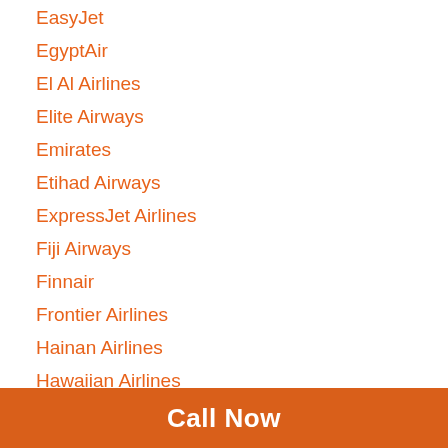EasyJet
EgyptAir
El Al Airlines
Elite Airways
Emirates
Etihad Airways
ExpressJet Airlines
Fiji Airways
Finnair
Frontier Airlines
Hainan Airlines
Hawaiian Airlines
Iberia Airlines
Icelandair
Call Now